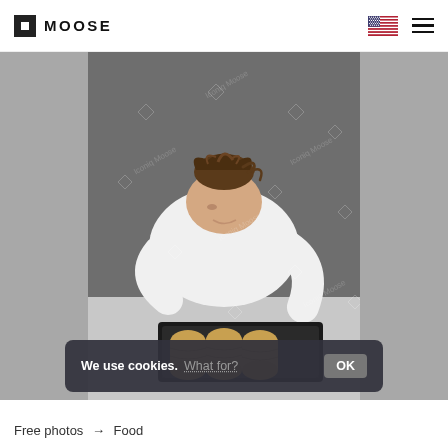MOOSE
[Figure (photo): A child leaning over a table looking at a tray with three rolled food items (crepes/pancakes) on it, photographed against a gray background with Iconiq Moose watermarks.]
We use cookies. What for? OK
Free photos → Food